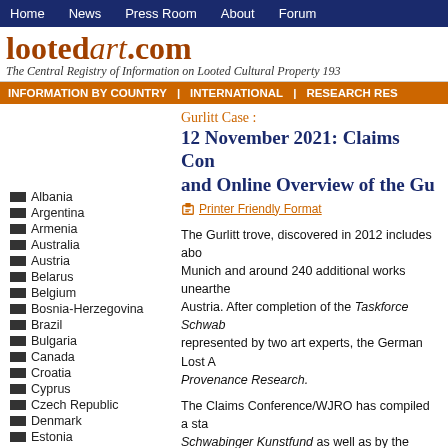Home | News | Press Room | About | Forum
lootedart.com — The Central Registry of Information on Looted Cultural Property 193...
INFORMATION BY COUNTRY | INTERNATIONAL | RESEARCH RES...
Gurlitt Case : 12 November 2021: Claims Conference and Online Overview of the Gu...
Printer Friendly Format
The Gurlitt trove, discovered in 2012 includes about... Munich and around 240 additional works unearthed... Austria. After completion of the Taskforce Schwaba... represented by two art experts, the German Lost A... Provenance Research.
The Claims Conference/WJRO has compiled a sta... Schwabinger Kunstfund as well as by the Gurlitt P... exemplify that an organized and online accessible... still missing, including for artworks that are classifi... provenance gaps between 1933 and 1945.
For the statistical review, please see:
Albania
Argentina
Armenia
Australia
Austria
Belarus
Belgium
Bosnia-Herzegovina
Brazil
Bulgaria
Canada
Croatia
Cyprus
Czech Republic
Denmark
Estonia
Finland
France